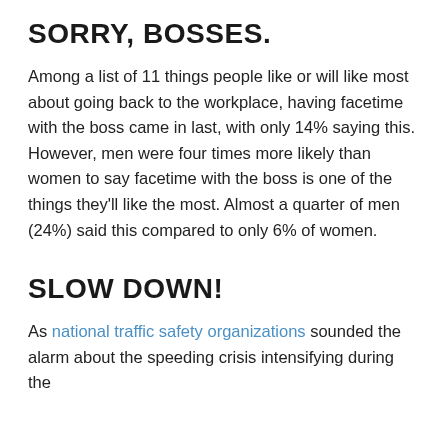SORRY, BOSSES.
Among a list of 11 things people like or will like most about going back to the workplace, having facetime with the boss came in last, with only 14% saying this. However, men were four times more likely than women to say facetime with the boss is one of the things they'll like the most. Almost a quarter of men (24%) said this compared to only 6% of women.
SLOW DOWN!
As national traffic safety organizations sounded the alarm about the speeding crisis intensifying during the pandemic, we wanted to know if people think being...